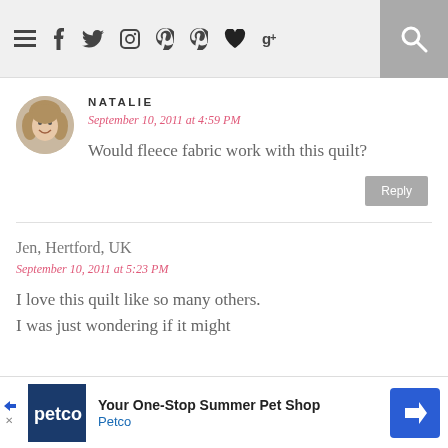Navigation bar with menu icon, social icons (facebook, twitter, instagram, pinterest, pinterest, heart, google+), and search button
NATALIE
September 10, 2011 at 4:59 PM
Would fleece fabric work with this quilt?
Jen, Hertford, UK
September 10, 2011 at 5:23 PM
I love this quilt like so many others.
I was just wondering if it might
[Figure (photo): Round avatar photo of a woman with blonde hair smiling]
Your One-Stop Summer Pet Shop Petco